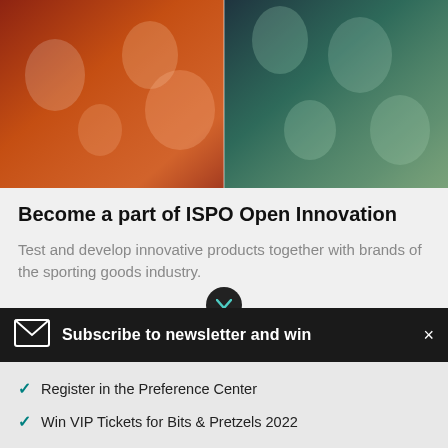[Figure (photo): Photo collage of multiple people doing sports/outdoor activities, left half with warm orange/red tones and right half with cool green/teal tones]
Become a part of ISPO Open Innovation
Test and develop innovative products together with brands of the sporting goods industry.
Subscribe to newsletter and win
Register in the Preference Center
Win VIP Tickets for Bits & Pretzels 2022
Get Insights from the Sports Business World
→  ALL INFOS